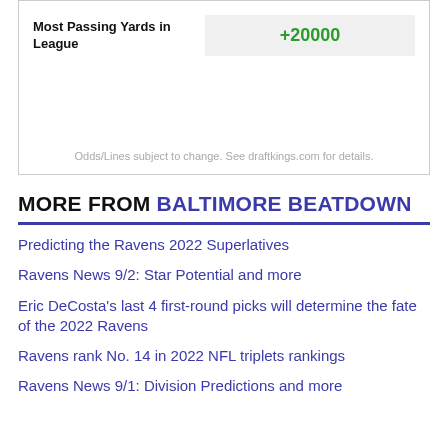| Most Passing Yards in League |  |
| --- | --- |
| Most Passing Yards in League | +20000 |
Odds/Lines subject to change. See draftkings.com for details.
MORE FROM BALTIMORE BEATDOWN
Predicting the Ravens 2022 Superlatives
Ravens News 9/2: Star Potential and more
Eric DeCosta's last 4 first-round picks will determine the fate of the 2022 Ravens
Ravens rank No. 14 in 2022 NFL triplets rankings
Ravens News 9/1: Division Predictions and more